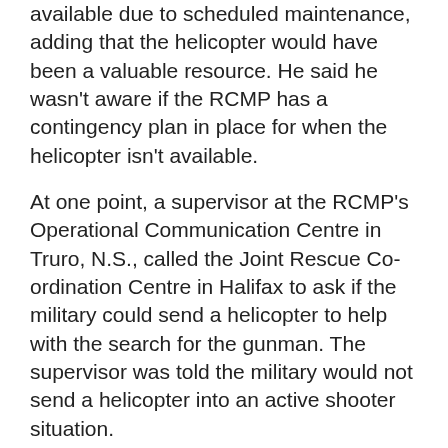available due to scheduled maintenance, adding that the helicopter would have been a valuable resource. He said he wasn't aware if the RCMP has a contingency plan in place for when the helicopter isn't available.
At one point, a supervisor at the RCMP's Operational Communication Centre in Truro, N.S., called the Joint Rescue Co-ordination Centre in Halifax to ask if the military could send a helicopter to help with the search for the gunman. The supervisor was told the military would not send a helicopter into an active shooter situation.
Retired staff sergeant Steve Halliday, the operations officer for the district at the time, testified on Tuesday that at various times the